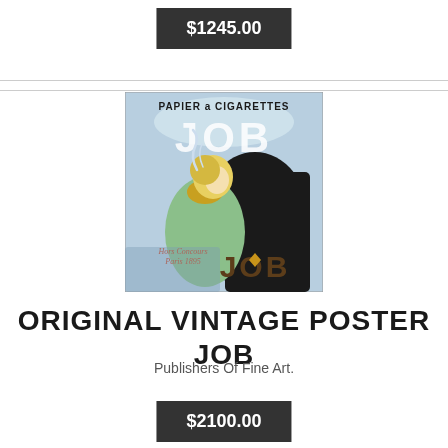$1245.00
[Figure (illustration): Original vintage JOB cigarette paper poster showing a woman with blonde hair smoking, large JOB lettering, text reads PAPIER A CIGARETTES JOB, Hors Concours Paris 1895]
ORIGINAL VINTAGE POSTER JOB
Publishers Of Fine Art.
$2100.00